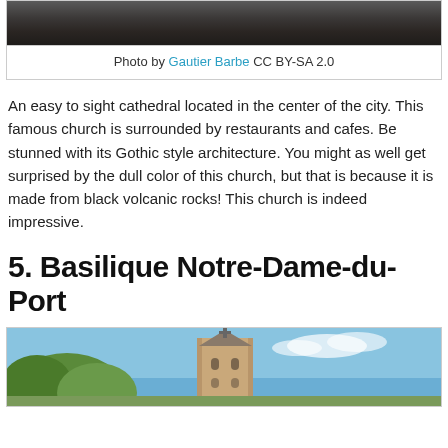[Figure (photo): Top portion of a cathedral photo, dark stone Gothic architecture]
Photo by Gautier Barbe CC BY-SA 2.0
An easy to sight cathedral located in the center of the city. This famous church is surrounded by restaurants and cafes. Be stunned with its Gothic style architecture. You might as well get surprised by the dull color of this church, but that is because it is made from black volcanic rocks! This church is indeed impressive.
5. Basilique Notre-Dame-du-Port
[Figure (photo): Bottom portion showing Basilique Notre-Dame-du-Port with a stone tower and blue sky with trees]